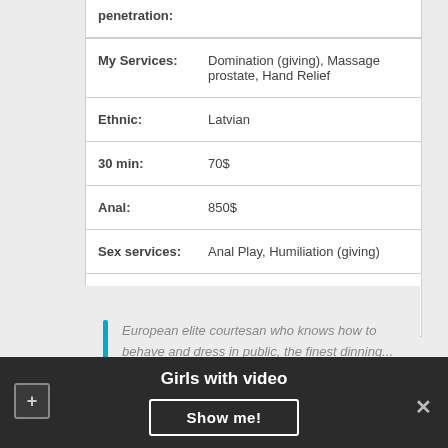penetration:
| Label | Value |
| --- | --- |
| My Services: | Domination (giving), Massage prostate, Hand Relief |
| Ethnic: | Latvian |
| 30 min: | 70$ |
| Anal: | 850$ |
| Sex services: | Anal Play, Humiliation (giving) |
+ PHOTOS
European elite courtesan who knows how to behave and dress in public, the finest dinning... And then teasing and pleasing in
Girls with video
Show me!